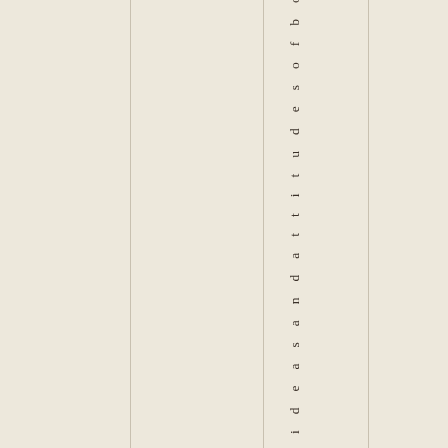e i d e a s a n d a t t i t u d e s o f b o t h C